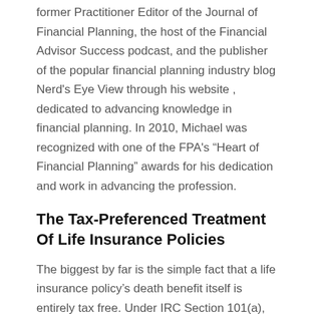former Practitioner Editor of the Journal of Financial Planning, the host of the Financial Advisor Success podcast, and the publisher of the popular financial planning industry blog Nerd's Eye View through his website , dedicated to advancing knowledge in financial planning. In 2010, Michael was recognized with one of the FPA's “Heart of Financial Planning” awards for his dedication and work in advancing the profession.
The Tax-Preferenced Treatment Of Life Insurance Policies
The biggest by far is the simple fact that a life insurance policy’s death benefit itself is entirely tax free. Under IRC Section 101(a), “gross income does not include amounts received under a life insurance contract, if such amounts are paid by reason of the death of the insured.” As a result, even